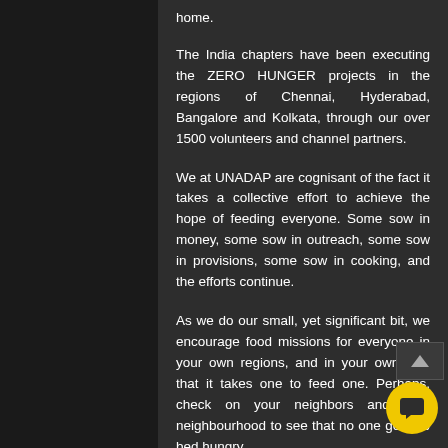home.
The India chapters have been executing the ZERO HUNGER projects in the regions of Chennai, Hyderabad, Bangalore and Kolkata, through our over 1500 volunteers and channel partners.
We at UNADAP are cognisant of the fact it takes a collective effort to achieve the hope of feeding everyone. Some sow in money, some sow in outreach, some sow in provisions, some sow in cooking, and the efforts continue.
As we do our small, yet significant bit, we encourage food missions for everyone in your own regions, and in your own way that it takes one to feed one. Perhaps, check on your neighbors and your neighbourhood to see that no one goes to bed hungry.